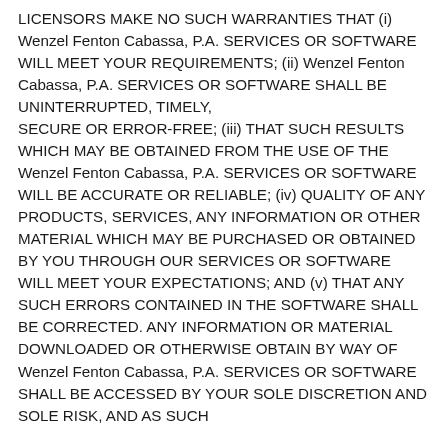LICENSORS MAKE NO SUCH WARRANTIES THAT (i) Wenzel Fenton Cabassa, P.A. SERVICES OR SOFTWARE WILL MEET YOUR REQUIREMENTS; (ii) Wenzel Fenton Cabassa, P.A. SERVICES OR SOFTWARE SHALL BE UNINTERRUPTED, TIMELY, SECURE OR ERROR-FREE; (iii) THAT SUCH RESULTS WHICH MAY BE OBTAINED FROM THE USE OF THE Wenzel Fenton Cabassa, P.A. SERVICES OR SOFTWARE WILL BE ACCURATE OR RELIABLE; (iv) QUALITY OF ANY PRODUCTS, SERVICES, ANY INFORMATION OR OTHER MATERIAL WHICH MAY BE PURCHASED OR OBTAINED BY YOU THROUGH OUR SERVICES OR SOFTWARE WILL MEET YOUR EXPECTATIONS; AND (v) THAT ANY SUCH ERRORS CONTAINED IN THE SOFTWARE SHALL BE CORRECTED. ANY INFORMATION OR MATERIAL DOWNLOADED OR OTHERWISE OBTAIN BY WAY OF Wenzel Fenton Cabassa, P.A. SERVICES OR SOFTWARE SHALL BE ACCESSED BY YOUR SOLE DISCRETION AND SOLE RISK, AND AS SUCH